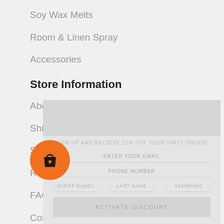Soy Wax Melts
Room & Linen Spray
Accessories
Store Information
About Us
Shipping Policy
Store Policy
Return Policy
FAQ
Contact Us
Blog
[Figure (screenshot): Popup modal with '15% Off' promotional banner, sign-up fields for email and phone number, name fields, and an 'ACTIVATE DISCOUNT' button. Partially overlaid on the navigation list.]
[Figure (illustration): Orange circular shopping bag button with a heart icon, positioned at bottom left.]